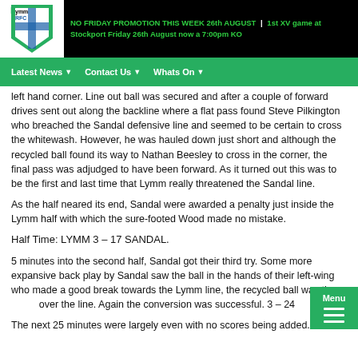NO FRIDAY PROMOTION THIS WEEK 26th AUGUST | 1st XV game at Stockport Friday 26th August now a 7:00pm KO
Latest News   Contact Us   Whats On
left hand corner. Line out ball was secured and after a couple of forward drives sent out along the backline where a flat pass found Steve Pilkington who breached the Sandal defensive line and seemed to be certain to cross the whitewash.  However, he was hauled down just short and although the recycled ball found its way to Nathan Beesley to cross in the corner, the final pass was adjudged to have been forward.  As it turned out this was to be the first and last time that Lymm really threatened the Sandal line.
As the half neared its end, Sandal were awarded a penalty just inside the Lymm half with which the sure-footed Wood made no mistake.
Half Time:  LYMM 3 – 17 SANDAL.
5 minutes into the second half, Sandal got their third try.  Some more expansive back play by Sandal saw the ball in the hands of their left-wing who made a good break towards the Lymm line, the recycled ball was then forced over the line.  Again the conversion was successful.  3 – 24
The next 25 minutes were largely even with no scores being added.  In t